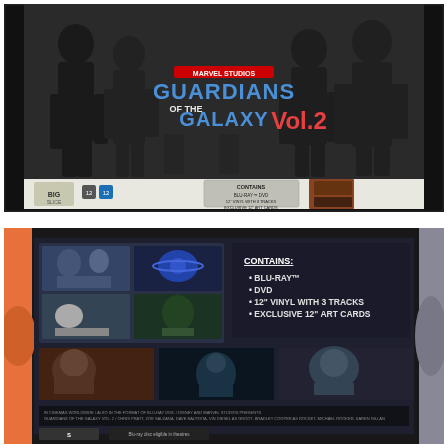[Figure (photo): Front cover of Guardians of the Galaxy Vol. 2 Big Slice collector's box set. Shows the movie characters in black and white dramatic pose with the colorful 'Guardians of the Galaxy Vol. 2' logo. Bottom of box lists contents: BLU-RAY, DVD, 12 inch vinyl with 3 tracks, Exclusive 12 inch Art Cards.]
[Figure (photo): Back of the Guardians of the Galaxy Vol. 2 box set showing movie stills, contents list (BLU-RAY, DVD, 12 VINYL WITH 3 TRACKS, EXCLUSIVE 12 ART CARDS), and small print text at bottom.]